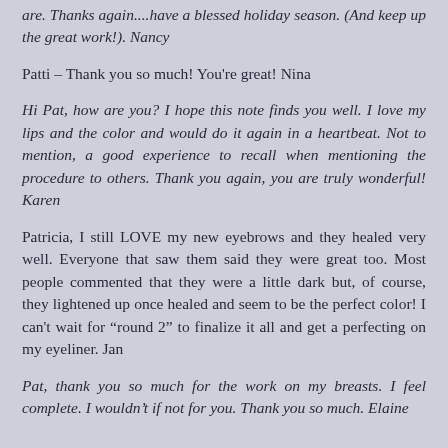are.  Thanks again....have a blessed holiday season.  (And keep up the great work!).  Nancy
Patti – Thank you so much!  You're great!  Nina
Hi Pat, how are you?  I hope this note finds you well.  I love my lips and the color and would do it again in a heartbeat.  Not to mention, a good experience to recall when mentioning the procedure to others.  Thank you again, you are truly wonderful!  Karen
Patricia, I still LOVE my new eyebrows and they healed very well.  Everyone that saw them said they were great too.  Most people commented that they were a little dark but, of course, they lightened up once healed and seem to be the perfect color!  I can't wait for “round 2” to finalize it all and get a perfecting on my eyeliner.   Jan
Pat, thank you so much for the work on my breasts.  I feel complete.  I wouldn’t if not for you.  Thank you so much.  Elaine